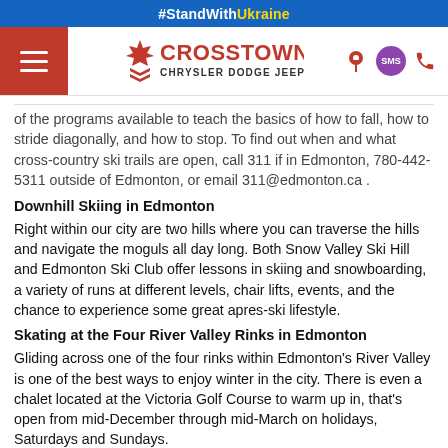#StandWithUkraine
[Figure (logo): Crosstown Chrysler Dodge Jeep Ram logo with navigation hamburger menu and icons]
of the programs available to teach the basics of how to fall, how to stride diagonally, and how to stop. To find out when and what cross-country ski trails are open, call 311 if in Edmonton, 780-442-5311 outside of Edmonton, or email 311@edmonton.ca .
Downhill Skiing in Edmonton
Right within our city are two hills where you can traverse the hills and navigate the moguls all day long. Both Snow Valley Ski Hill and Edmonton Ski Club offer lessons in skiing and snowboarding, a variety of runs at different levels, chair lifts, events, and the chance to experience some great apres-ski lifestyle.
Skating at the Four River Valley Rinks in Edmonton
Gliding across one of the four rinks within Edmonton's River Valley is one of the best ways to enjoy winter in the city. There is even a chalet located at the Victoria Golf Course to warm up in, that's open from mid-December through mid-March on holidays, Saturdays and Sundays.
Victoria Skating Oval is famous for being an outdoor speed skating trail that boasts scenery unrivaled anywhere else in Canada. Since the Oval is surrounded by trees, no inclement winter weather can really get to it. To find out when the skating rinks and tracks are open, please call 311 if in Edmonton, 780-442-5311 outside of